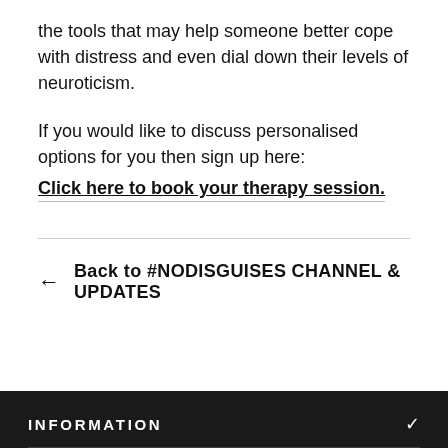the tools that may help someone better cope with distress and even dial down their levels of neuroticism.
If you would like to discuss personalised options for you then sign up here:
Click here to book your therapy session.
← Back to #NODISGUISES CHANNEL & UPDATES
INFORMATION